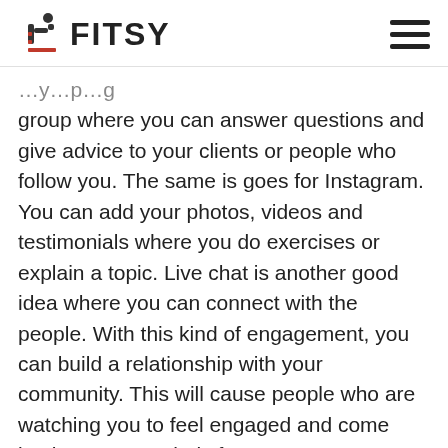FITSY
group where you can answer questions and give advice to your clients or people who follow you. The same is goes for Instagram. You can add your photos, videos and testimonials where you do exercises or explain a topic. Live chat is another good idea where you can connect with the people. With this kind of engagement, you can build a relationship with your community. This will cause people who are watching you to feel engaged and come back to you regularly for new content. Remember that in addition to your photos, the metamorphoses of your pupils will definitely attract the attention of new customers. It's worth thinking carefully about what kind of content you want to post. Try to think of something